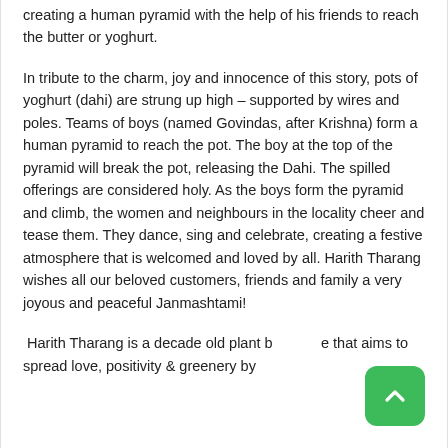creating a human pyramid with the help of his friends to reach the butter or yoghurt.
In tribute to the charm, joy and innocence of this story, pots of yoghurt (dahi) are strung up high – supported by wires and poles. Teams of boys (named Govindas, after Krishna) form a human pyramid to reach the pot. The boy at the top of the pyramid will break the pot, releasing the Dahi. The spilled offerings are considered holy. As the boys form the pyramid and climb, the women and neighbours in the locality cheer and tease them. They dance, sing and celebrate, creating a festive atmosphere that is welcomed and loved by all. Harith Tharang wishes all our beloved customers, friends and family a very joyous and peaceful Janmashtami!
Harith Tharang is a decade old plant boutique that aims to spread love, positivity & greenery by